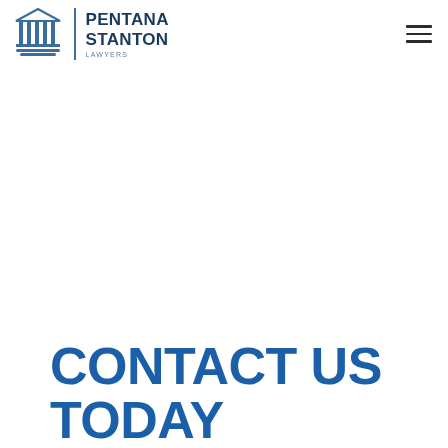[Figure (logo): Pentana Stanton Lawyers logo: stylized classical building/columns icon in blue, vertical divider, then text 'PENTANA STANTON' in dark navy bold uppercase with 'LAWYERS' in small spaced letters below]
CONTACT US TODAY